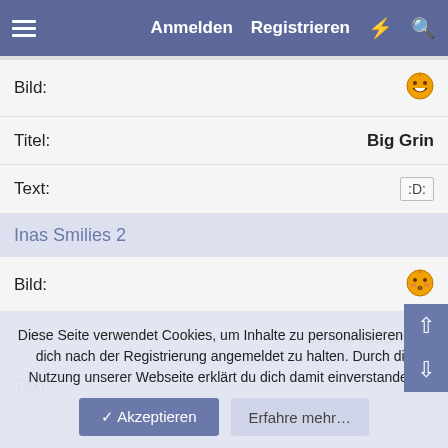Anmelden  Registrieren
Bild:
[Figure (illustration): Big Grin smiley emoji icon]
Titel: Big Grin
Text: :D:
Inas Smilies 2
Bild:
[Figure (illustration): Embarrassment smiley emoji icon]
Titel: Embarrassment
Text: i:o
Diese Seite verwendet Cookies, um Inhalte zu personalisieren und dich nach der Registrierung angemeldet zu halten. Durch die Nutzung unserer Webseite erklärt du dich damit einverstanden.